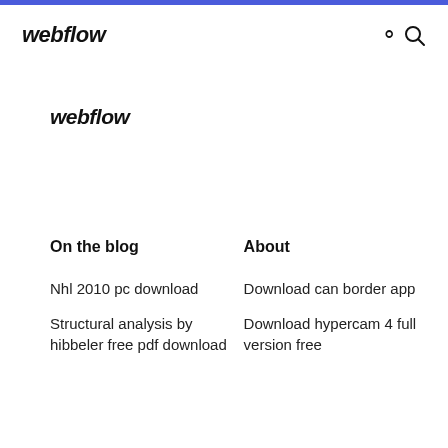webflow
webflow
On the blog
About
Nhl 2010 pc download
Structural analysis by hibbeler free pdf download
Download can border app
Download hypercam 4 full version free